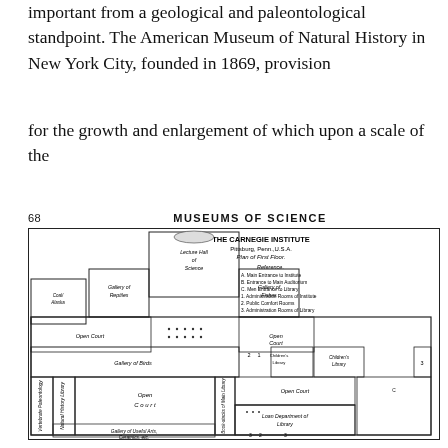important from a geological and paleontological standpoint. The American Museum of Natural History in New York City, founded in 1869, provision
for the growth and enlargement of which upon a scale of the
68    MUSEUMS OF SCIENCE
[Figure (engineering-diagram): Floor plan of The Carnegie Institute, Pittsburg, Penn., U.S.A. Plan of First Floor. Shows Lecture Hall of Science, Gallery of Reptiles, Gallery of Fishes, Gallery of Birds, Open Court areas, Children's Library, Children's Library, Gallery of Useful Arts/Ceramics, Natural History Library, Vertebrate Paleontology, Book-stacks of Main Library, Loan Department of Library, and various numbered rooms. Reference legend lists: A. Main Entrance to Institute, B. Entrance to Main Auditorium, C. Men Entrance to Library, 1. Administrative Rooms of Institute, 2. Public Comfort Rooms, 3. Administrative Rooms of Library.]